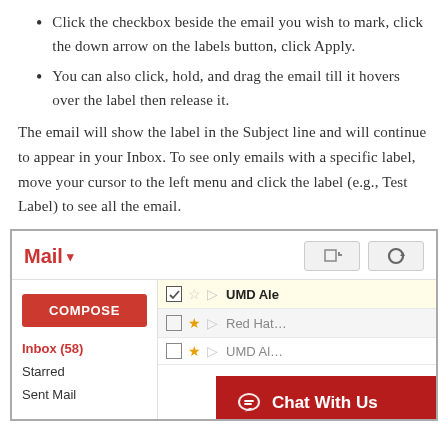Click the checkbox beside the email you wish to mark, click the down arrow on the labels button, click Apply.
You can also click, hold, and drag the email till it hovers over the label then release it.
The email will show the label in the Subject line and will continue to appear in your Inbox. To see only emails with a specific label, move your cursor to the left menu and click the label (e.g., Test Label) to see all the email.
[Figure (screenshot): Screenshot of Gmail interface showing Mail header, Compose button, Inbox (58), Starred, Sent Mail navigation, email rows with checkboxes, and a red Chat With Us overlay button.]